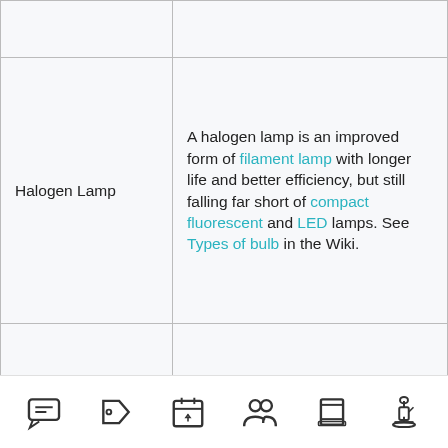| Term | Description |
| --- | --- |
| Halogen Lamp | A halogen lamp is an improved form of filament lamp with longer life and better efficiency, but still falling far short of compact fluorescent and LED lamps. See Types of bulb in the Wiki. |
| Hard Disk | A hard disk or HD is a common type of computer main long term storage in which data is held on a rapidly spinning magnetic disk. (Increasingly, modern ... |